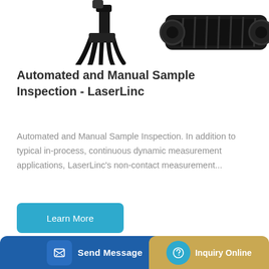[Figure (photo): Top portion of excavator machinery parts including a bucket/claw attachment on the left and crawler track on the right, shown against white background]
Automated and Manual Sample Inspection - LaserLinc
Automated and Manual Sample Inspection. In addition to typical in-process, continuous dynamic measurement applications, LaserLinc's non-contact measurement...
[Figure (other): Blue 'Learn More' button]
[Figure (photo): Yellow XCMG excavator arm and body visible at bottom of page]
[Figure (other): Bottom bar with 'Send Message' blue button on left and 'Inquiry Online' gold button on right]